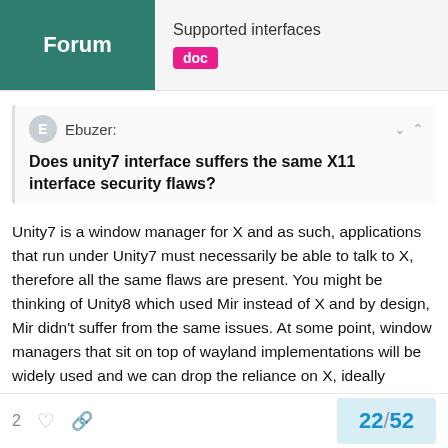Forum | Supported interfaces doc
Ebuzer:
Does unity7 interface suffers the same X11 interface security flaws?
Unity7 is a window manager for X and as such, applications that run under Unity7 must necessarily be able to talk to X, therefore all the same flaws are present. You might be thinking of Unity8 which used Mir instead of X and by design, Mir didn't suffer from the same issues. At some point, window managers that sit on top of wayland implementations will be widely used and we can drop the reliance on X, ideally leaving the x11 (and unity7) snapd plugs as manually connected for those that need it. We aren't there yet, but I have every expectation that some day we'll get there.
2 ♡ 🔗 | 22/52